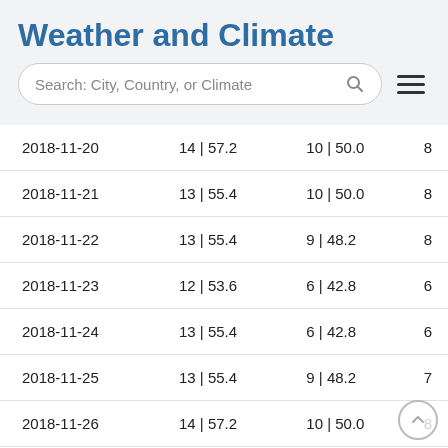Weather and Climate
| Date | Max Temp | Min Temp | Wind |
| --- | --- | --- | --- |
| 2018-11-20 | 14 | 57.2 | 10 | 50.0 | 8 |
| 2018-11-21 | 13 | 55.4 | 10 | 50.0 | 8 |
| 2018-11-22 | 13 | 55.4 | 9 | 48.2 | 8 |
| 2018-11-23 | 12 | 53.6 | 6 | 42.8 | 6 |
| 2018-11-24 | 13 | 55.4 | 6 | 42.8 | 6 |
| 2018-11-25 | 13 | 55.4 | 9 | 48.2 | 7 |
| 2018-11-26 | 14 | 57.2 | 10 | 50.0 | 8 |